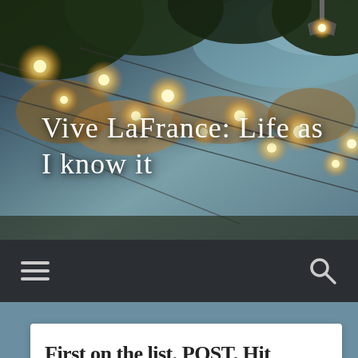[Figure (photo): Outdoor string lights hanging from trees against a dusk sky, warm bokeh glow, used as blog header background image]
Vive LaFrance: Life as I know it
[Figure (screenshot): Dark navigation bar with hamburger menu icon on left and search magnifying glass icon on right]
First on the list, POST. Hit PUBLISH!